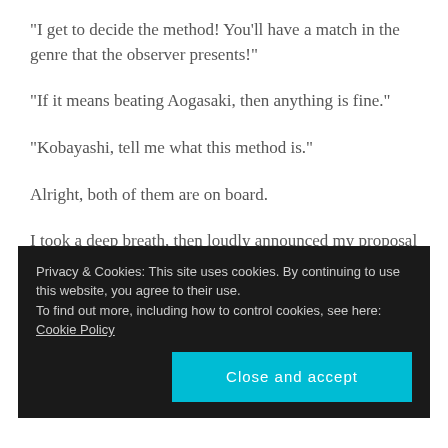“I get to decide the method! You’ll have a match in the genre that the observer presents!”
“If it means beating Aogasaki, then anything is fine.”
“Kobayashi, tell me what this method is.”
Alright, both of them are on board.
I took a deep breath, then loudly announced my proposal to them.
Privacy & Cookies: This site uses cookies. By continuing to use this website, you agree to their use.
To find out more, including how to control cookies, see here: Cookie Policy